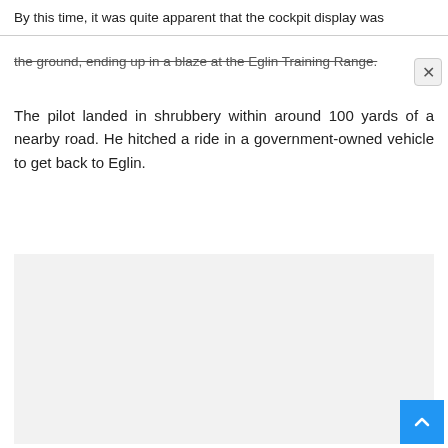By this time, it was quite apparent that the cockpit display was
the ground, ending up in a blaze at the Eglin Training Range.
The pilot landed in shrubbery within around 100 yards of a nearby road. He hitched a ride in a government-owned vehicle to get back to Eglin.
[Figure (photo): Light gray placeholder image area]